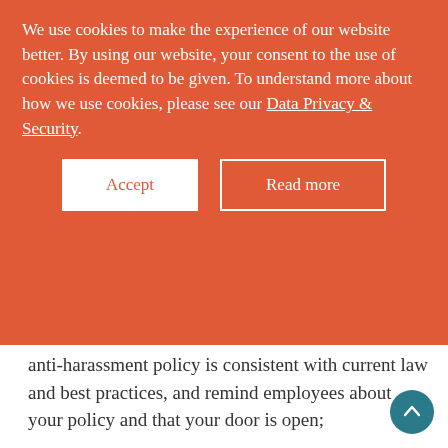We use cookies to make the experience of our website better. By using our website, your consent to the use of cookies is deemed to be given. To understand more about how we use cookies, please see our Data Privacy & Security.
Ensure that your organisation's workplace anti-harassment policy is consistent with current law and best practices, and remind employees about your policy and that your door is open;
Train your supervisors and managers to recognize sexual assault and sexual harassment concerns when they arise and to immediately report these concerns to human resource professionals, and be prepared to promptly investigate any